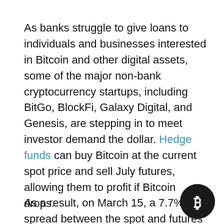As banks struggle to give loans to individuals and businesses interested in Bitcoin and other digital assets, some of the major non-bank cryptocurrency startups, including BitGo, BlockFi, Galaxy Digital, and Genesis, are stepping in to meet investor demand the dollar. Hedge funds can buy Bitcoin at the current spot price and sell July futures, allowing them to profit if Bitcoin drops.
As a result, on March 15, a 7.7% spread between the spot and futures prices was locked in. The annual return is comparable to 21% in the 137 days between March 15 and July 30, when the futures contract expires. Warren noted that the cryptocurrency business provides "much of the...
[Figure (logo): Bitcoin logo — black circle with white Bitcoin symbol (₿)]